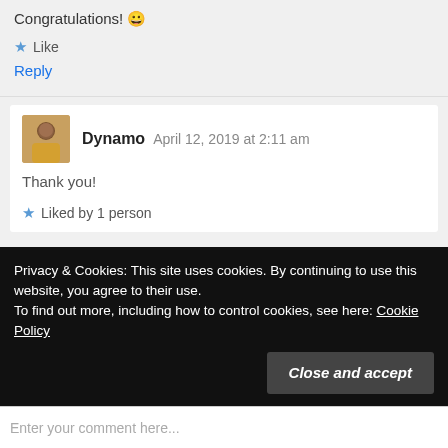Congratulations! 😀
★ Like
Reply
[Figure (photo): Avatar photo of user Dynamo, person in yellow clothing]
Dynamo  April 12, 2019 at 2:11 am
Thank you!
★ Liked by 1 person
Privacy & Cookies: This site uses cookies. By continuing to use this website, you agree to their use.
To find out more, including how to control cookies, see here: Cookie Policy
Close and accept
Enter your comment here...